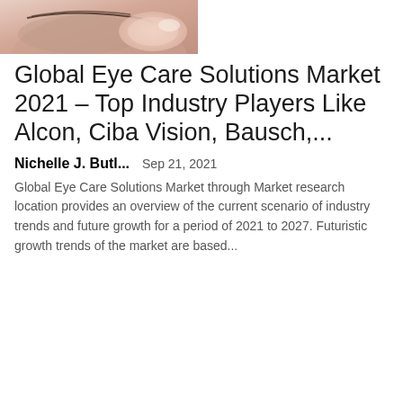[Figure (photo): Close-up photo of a human eye being touched, showing skin and eyelid area]
Global Eye Care Solutions Market 2021 – Top Industry Players Like Alcon, Ciba Vision, Bausch,...
Nichelle J. Butl...   Sep 21, 2021
Global Eye Care Solutions Market through Market research location provides an overview of the current scenario of industry trends and future growth for a period of 2021 to 2027. Futuristic growth trends of the market are based...